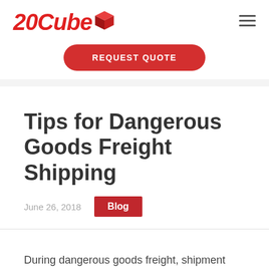[Figure (logo): 20Cube logo with red italic bold text and a red 3D cube icon]
REQUEST QUOTE
Tips for Dangerous Goods Freight Shipping
June 26, 2018
Blog
During dangerous goods freight, shipment